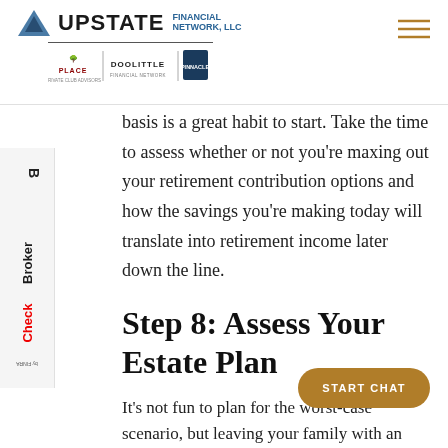UPSTATE FINANCIAL NETWORK, LLC — Place, Doolittle Financial Network, Pinnacle Financial
basis is a great habit to start. Take the time to assess whether or not you're maxing out your retirement contribution options and how the savings you're making today will translate into retirement income later down the line.
Step 8: Assess Your Estate Plan
It's not fun to plan for the worst-case scenario, but leaving your family with an outdated will, trust or estate plan can load